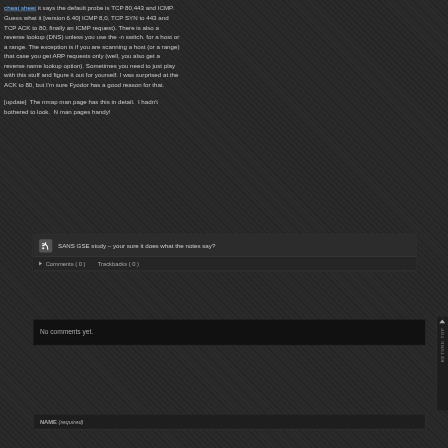cheat sheet it says the default probe is TCP 80,443 and ICMP. Guess what it [version 6.40] ICMP 8,0, TCP SYN to 443 and TCP ACK to 80, finally an ICMP request). There is also a reverse lookup (DNS) unless you use the -n switch. for a host or a range. The exception is if you are scanning a host (or a range) that case you get ARP requests only (well, you also get a reverse name lookup option). Sometimes you need to just play with this stuff and figure it out for yourself. I was surprised at the ACK to 80, but I'm sure Fyodor has a good reason for that.
[update]  The nmap man page has this in detail.  I hadn't bothered to look.  Note to self: keep man pages handy!
SANS GSE study – your sure it does what the notes say?
Comments ( 0 )    Trackbacks ( 0 )
No comments yet.
NAME (required)